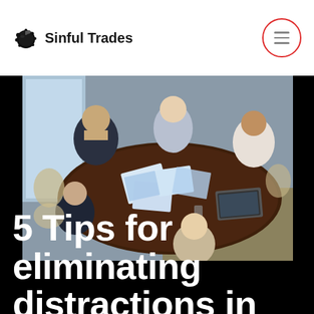Sinful Trades
[Figure (photo): Overhead view of business people sitting around a conference table with documents and a laptop, engaged in a meeting]
5 Tips for eliminating distractions in your business